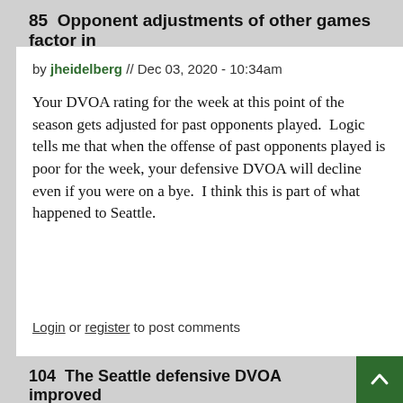85  Opponent adjustments of other games factor in
by jheidelberg // Dec 03, 2020 - 10:34am
Your DVOA rating for the week at this point of the season gets adjusted for past opponents played.  Logic tells me that when the offense of past opponents played is poor for the week, your defensive DVOA will decline even if you were on a bye.  I think this is part of what happened to Seattle.
Login or register to post comments
104  The Seattle defensive DVOA improved
by jheidelberg // Dec 04, 2020 - 10:42am
Just reread the article and I see it was 8.8 last